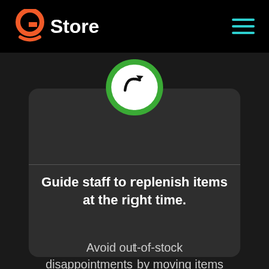[Figure (logo): gStore logo with orange 'g' icon and white 'Store' text on black navigation bar, with teal hamburger menu icon on the right]
[Figure (illustration): White circle with green border containing a black curved arrow (redirect/replenish icon), overlaying a dark rounded card]
Guide staff to replenish items at the right time.
Avoid out-of-stock disappointments by moving items